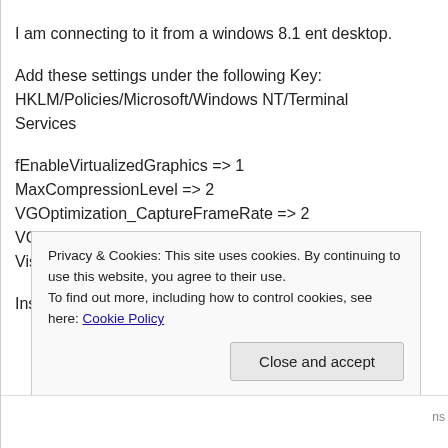I am connecting to it from a windows 8.1 ent desktop.
Add these settings under the following Key:
HKLM/Policies/Microsoft/Windows NT/Terminal Services
fEnableVirtualizedGraphics => 1
MaxCompressionLevel => 2
VGOptimization_CaptureFrameRate => 2
VGOptimization_CompressionRatio => 2
VisualExperiencePolicy => 1
Insert the Values as DWORD (32-bit) values
Privacy & Cookies: This site uses cookies. By continuing to use this website, you agree to their use.
To find out more, including how to control cookies, see here: Cookie Policy